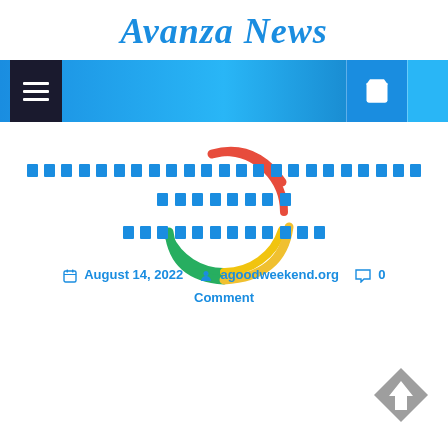Avanza News
[Figure (screenshot): Navigation bar with hamburger menu on left and shopping bag icon on right, blue gradient background]
[Figure (illustration): Google loading spinner/circle animation with red, green, blue, and yellow arcs]
[Thai language article title - displayed as blue rectangular blocks]
August 14, 2022   agoodweekend.org   0 Comment